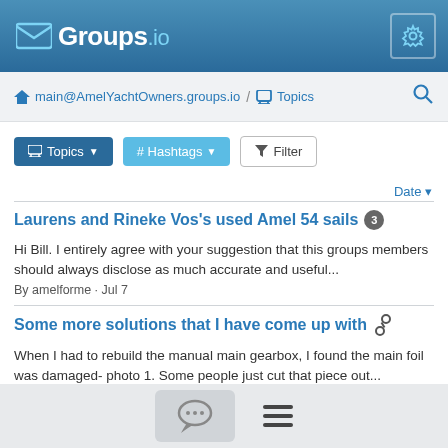[Figure (screenshot): Groups.io logo with envelope icon and settings gear button in blue header]
main@AmelYachtOwners.groups.io / Topics
Topics (dropdown button)
# Hashtags (dropdown button)
Filter (button)
Date
Laurens and Rineke Vos's used Amel 54 sails [3]
Hi Bill. I entirely agree with your suggestion that this groups members should always disclose as much accurate and useful...
By amelforme · Jul 7
Some more solutions that I have come up with [paperclip]
When I had to rebuild the manual main gearbox, I found the main foil was damaged- photo 1. Some people just cut that piece out...
By Eric Freedman · Jul 7